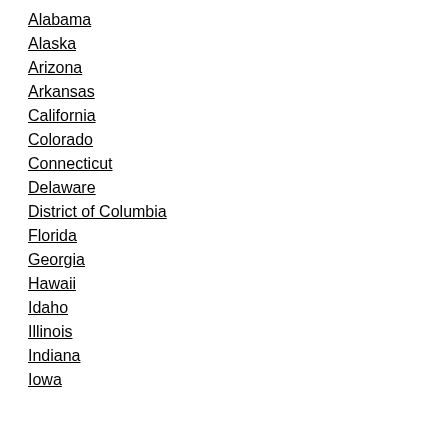Alabama
Alaska
Arizona
Arkansas
California
Colorado
Connecticut
Delaware
District of Columbia
Florida
Georgia
Hawaii
Idaho
Illinois
Indiana
Iowa